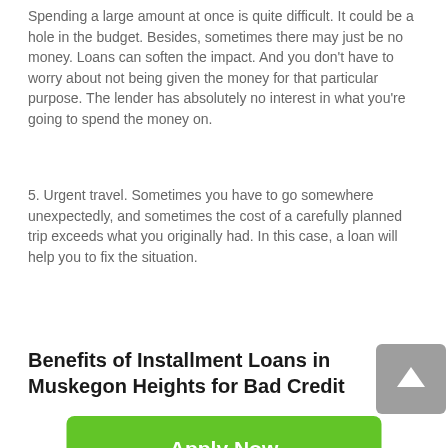Spending a large amount at once is quite difficult. It could be a hole in the budget. Besides, sometimes there may just be no money. Loans can soften the impact. And you don't have to worry about not being given the money for that particular purpose. The lender has absolutely no interest in what you're going to spend the money on.
5. Urgent travel. Sometimes you have to go somewhere unexpectedly, and sometimes the cost of a carefully planned trip exceeds what you originally had. In this case, a loan will help you to fix the situation.
Benefits of Installment Loans in Muskegon Heights for Bad Credit
[Figure (other): Scroll-up button: grey rounded square with white upward arrow]
Apply Now
Applying does NOT affect your credit score!
No credit check to apply.